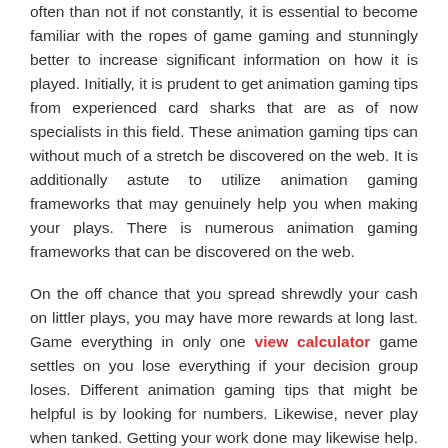often than not if not constantly, it is essential to become familiar with the ropes of game gaming and stunningly better to increase significant information on how it is played. Initially, it is prudent to get animation gaming tips from experienced card sharks that are as of now specialists in this field. These animation gaming tips can without much of a stretch be discovered on the web. It is additionally astute to utilize animation gaming frameworks that may genuinely help you when making your plays. There is numerous animation gaming frameworks that can be discovered on the web.
On the off chance that you spread shrewdly your cash on littler plays, you may have more rewards at long last. Game everything in only one view calculator game settles on you lose everything if your decision group loses. Different animation gaming tips that might be helpful is by looking for numbers. Likewise, never play when tanked. Getting your work done may likewise help. To do this implies you ought to do your examination well. You ought to likewise play the chances. Last however generally significant among different animation gaming tips is receiving an animation gaming framework that works. To win reliably with your plays on